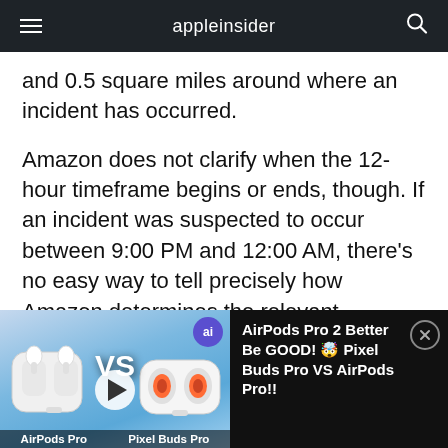appleinsider
and 0.5 square miles around where an incident has occurred.
Amazon does not clarify when the 12-hour timeframe begins or ends, though. If an incident was suspected to occur between 9:00 PM and 12:00 AM, there's no easy way to tell precisely how Amazon determines the relevant timeframe. Users will then be able to tap a button labeled "tap here to help" to provide the videos
[Figure (screenshot): Video promotion bar at bottom: thumbnail showing AirPods Pro vs Pixel Buds Pro with VS text and play button, ai badge, labels 'AirPods Pro' and 'Pixel Buds Pro'. Right side dark panel with text: AirPods Pro 2 Better Be GOOD! 🤯 Pixel Buds Pro VS AirPods Pro!!]